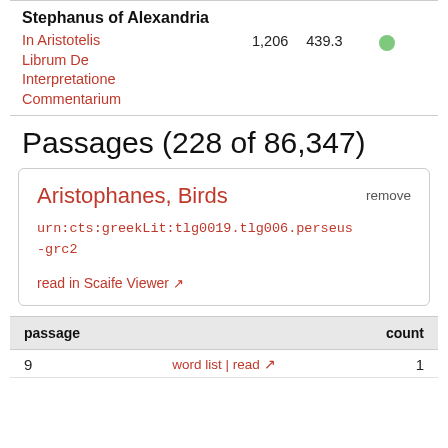Stephanus of Alexandria
In Aristotelis Librum De Interpretatione Commentarium	1,206	439.3
Passages (228 of 86,347)
Aristophanes, Birds
urn:cts:greekLit:tlg0019.tlg006.perseus-grc2
read in Scaife Viewer
remove
| passage | count |
| --- | --- |
| 9 | word list | read | 1 |